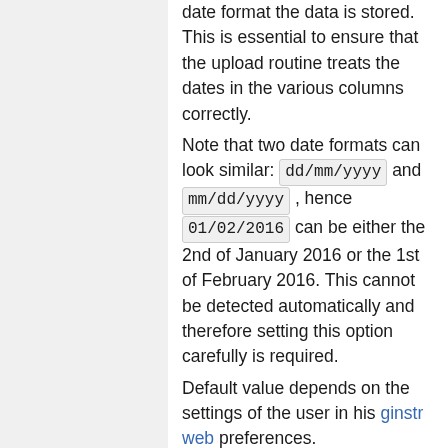date format the data is stored. This is essential to ensure that the upload routine treats the dates in the various columns correctly.
Note that two date formats can look similar: dd/mm/yyyy and mm/dd/yyyy , hence 01/02/2016 can be either the 2nd of January 2016 or the 1st of February 2016. This cannot be detected automatically and therefore setting this option carefully is required.
Default value depends on the settings of the user in his ginstr web preferences.
number format
ginstr supports multiple number formats. This option allows defining in which number format the data...